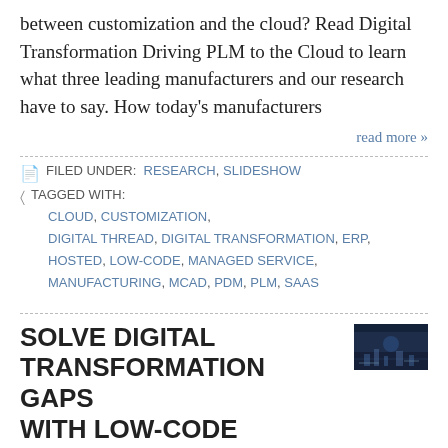between customization and the cloud? Read Digital Transformation Driving PLM to the Cloud to learn what three leading manufacturers and our research have to say. How today's manufacturers
read more »
FILED UNDER: RESEARCH, SLIDESHOW
TAGGED WITH: CLOUD, CUSTOMIZATION, DIGITAL THREAD, DIGITAL TRANSFORMATION, ERP, HOSTED, LOW-CODE, MANAGED SERVICE, MANUFACTURING, MCAD, PDM, PLM, SAAS
SOLVE DIGITAL TRANSFORMATION GAPS WITH LOW-CODE (WEBCAST)
[Figure (photo): Thumbnail image showing an industrial or manufacturing scene with dark blue/night tones]
SEPTEMBER 10, 2021 BY JIM BROWN 0